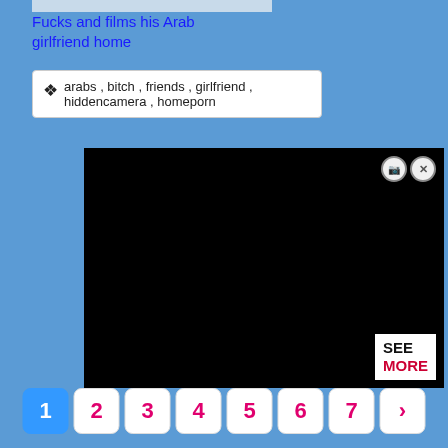[Figure (photo): Partial thumbnail image at top of page, cropped]
Fucks and films his Arab girlfriend home
arabs , bitch , friends , girlfriend , hiddencamera , homeporn
[Figure (screenshot): Black video player with SEE MORE button and close buttons in top-right corner]
1 2 3 4 5 6 7 >